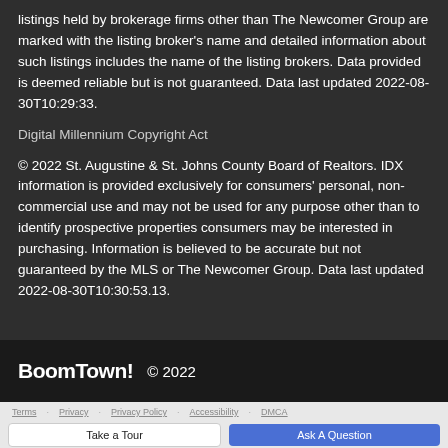listings held by brokerage firms other than The Newcomer Group are marked with the listing broker's name and detailed information about such listings includes the name of the listing brokers. Data provided is deemed reliable but is not guaranteed. Data last updated 2022-08-30T10:29:33.
Digital Millennium Copyright Act
© 2022 St. Augustine & St. Johns County Board of Realtors. IDX information is provided exclusively for consumers' personal, non-commercial use and may not be used for any purpose other than to identify prospective properties consumers may be interested in purchasing. Information is believed to be accurate but not guaranteed by the MLS or The Newcomer Group. Data last updated 2022-08-30T10:30:53.13.
BoomTown! © 2022
Terms · Privacy · Privacy Policy · Accessibility · DMCA
Take a Tour | Ask A Question